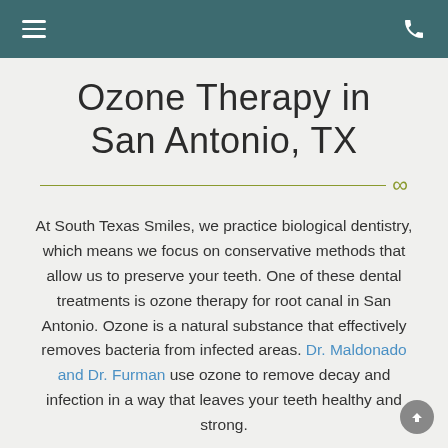≡  [phone icon]
Ozone Therapy in San Antonio, TX
At South Texas Smiles, we practice biological dentistry, which means we focus on conservative methods that allow us to preserve your teeth. One of these dental treatments is ozone therapy for root canal in San Antonio. Ozone is a natural substance that effectively removes bacteria from infected areas. Dr. Maldonado and Dr. Furman use ozone to remove decay and infection in a way that leaves your teeth healthy and strong.